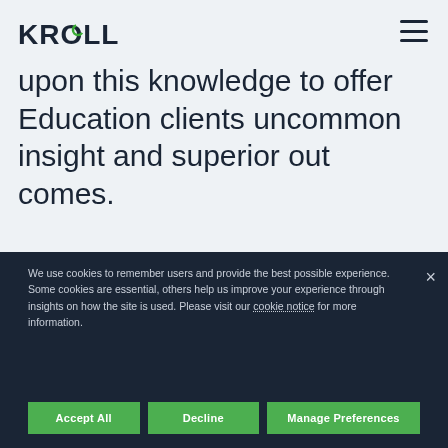KROLL
upon this knowledge to offer Education clients uncommon insight and superior out comes.
We use cookies to remember users and provide the best possible experience. Some cookies are essential, others help us improve your experience through insights on how the site is used. Please visit our cookie notice for more information.
Accept All
Decline
Manage Preferences